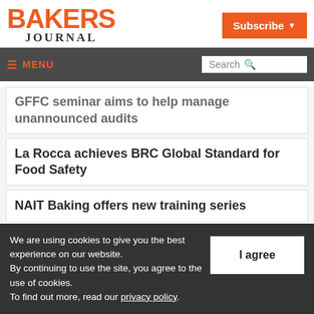BAKERS JOURNAL
Subscribe
MENU | Search
GFFC seminar aims to help manage unannounced audits
La Rocca achieves BRC Global Standard for Food Safety
NAIT Baking offers new training series
We are using cookies to give you the best experience on our website.
By continuing to use the site, you agree to the use of cookies.
To find out more, read our privacy policy.